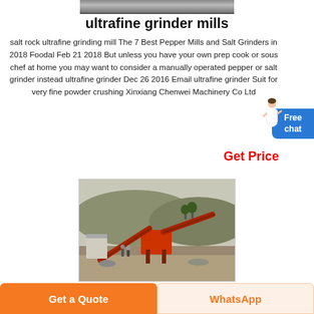[Figure (photo): Top cropped photo of industrial machinery or grinder equipment, partially visible at top of page]
ultrafine grinder mills
salt rock ultrafine grinding mill The 7 Best Pepper Mills and Salt Grinders in 2018 Foodal Feb 21 2018 But unless you have your own prep cook or sous chef at home you may want to consider a manually operated pepper or salt grinder instead ultrafine grinder Dec 26 2016 Email ultrafine grinder Suit for very fine powder crushing Xinxiang Chenwei Machinery Co Ltd
[Figure (illustration): Chat assistant figure (woman in white) with blue Free chat button]
Get Price
[Figure (photo): Outdoor photo of a large red industrial crusher/conveyor machine at a quarry or mining site]
Get a Quote
WhatsApp